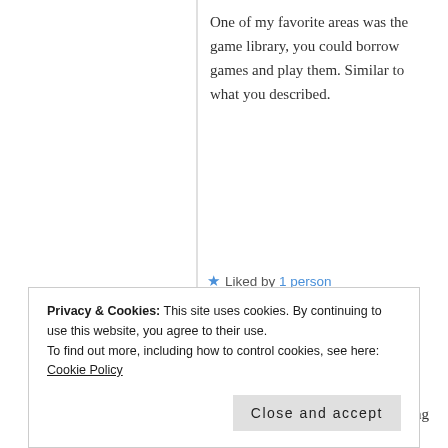One of my favorite areas was the game library, you could borrow games and play them. Similar to what you described.
★ Liked by 1 person
GEMMAORTON
December 2, 2017 at 9:56 pm
This sounds amazing! I'll be looking in
Privacy & Cookies: This site uses cookies. By continuing to use this website, you agree to their use.
To find out more, including how to control cookies, see here: Cookie Policy
Close and accept